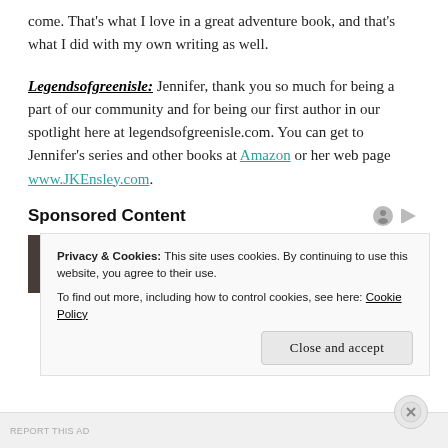come. That's what I love in a great adventure book, and that's what I did with my own writing as well.
Legendsofgreenisle: Jennifer, thank you so much for being a part of our community and for being our first author in our spotlight here at legendsofgreenisle.com. You can get to Jennifer's series and other books at Amazon or her web page www.JKEnsley.com.
Sponsored Content
[Figure (photo): Partial photo of a person, top of head visible, part of sponsored content ad unit]
Privacy & Cookies: This site uses cookies. By continuing to use this website, you agree to their use. To find out more, including how to control cookies, see here: Cookie Policy
Close and accept